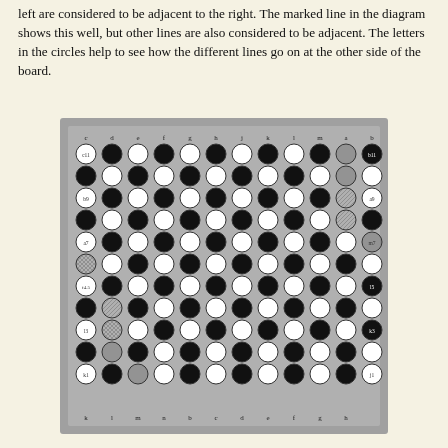left are considered to be adjacent to the right. The marked line in the diagram shows this well, but other lines are also considered to be adjacent. The letters in the circles help to see how the different lines go on at the other side of the board.
[Figure (illustration): A Hex board diagram showing a grid of black and white circles (stones) arranged in an 11x11 pattern on a gray board. The board has labeled columns and rows. Some circles have special markings (hatched patterns) indicating wrapped adjacency. Labels on edges include letters c, d, e, f, g, h, j, k, l, m, a, b across top and k, l, m, n, b, c, d, e, f, g, h across bottom, and row labels c11, b11, b9, a9, a7, m7, f4.5, l5, l3, k3, k1, j1 on sides.]